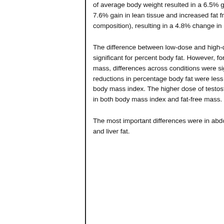of average body weight resulted in a 6.5% gain in waist circumference, a 7.6% gain in lean tissue and increased fat free mass (measured by total body composition), resulting in a 4.8% change in percentage body fat.
The difference between low-dose and high-dose testosterone was not significant for percent body fat. However, for body mass index and fat-free mass, differences across conditions were significant. In the lower doses, reductions in percentage body fat were less and no difference was seen in body mass index. The higher dose of testosterone resulted in more changes in both body mass index and fat-free mass.
The most important differences were in abdominal fat, bone mineral density and liver fat.
[Figure (photo): Photograph of a red brick Victorian-style building with ornate architectural details, arched windows, and a blue sky visible at the top. A person is visible walking in the foreground on a path.]